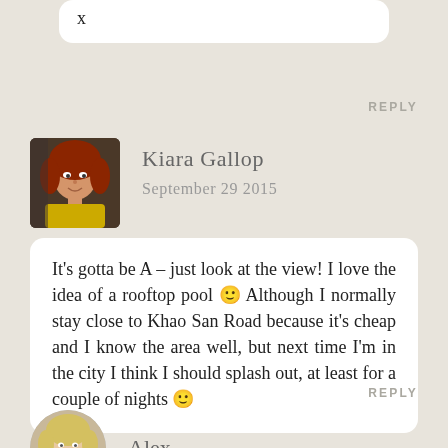x
REPLY
Kiara Gallop
September 29 2015
[Figure (photo): Profile photo of Kiara Gallop, a woman with red hair wearing a yellow top, photographed from outside a car window]
It's gotta be A – just look at the view! I love the idea of a rooftop pool 🙂 Although I normally stay close to Khao San Road because it's cheap and I know the area well, but next time I'm in the city I think I should splash out, at least for a couple of nights 🙂
REPLY
[Figure (photo): Profile photo of Alex, a woman with blonde hair]
Alex